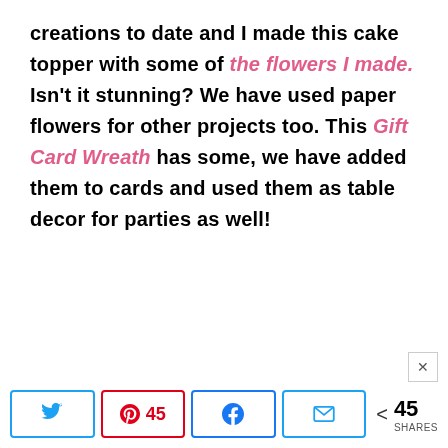creations to date and I made this cake topper with some of the flowers I made. Isn't it stunning? We have used paper flowers for other projects too. This Gift Card Wreath has some, we have added them to cards and used them as table decor for parties as well!
[Figure (other): Social share bar with Twitter, Pinterest (45), Facebook, Email buttons and a share count of 45 SHARES]